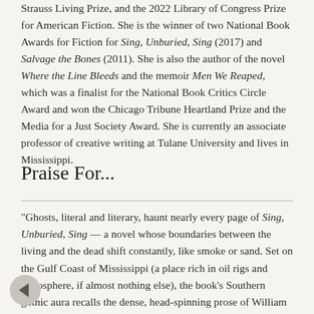Strauss Living Prize, and the 2022 Library of Congress Prize for American Fiction. She is the winner of two National Book Awards for Fiction for Sing, Unburied, Sing (2017) and Salvage the Bones (2011). She is also the author of the novel Where the Line Bleeds and the memoir Men We Reaped, which was a finalist for the National Book Critics Circle Award and won the Chicago Tribune Heartland Prize and the Media for a Just Society Award. She is currently an associate professor of creative writing at Tulane University and lives in Mississippi.
Praise For...
"Ghosts, literal and literary, haunt nearly every page of Sing, Unburied, Sing — a novel whose boundaries between the living and the dead shift constantly, like smoke or sand. Set on the Gulf Coast of Mississippi (a place rich in oil rigs and atmosphere, if almost nothing else), the book's Southern gothic aura recalls the dense, head-spinning prose of William Faulkner or Flannery